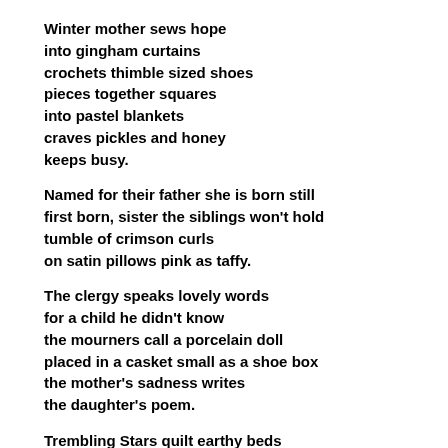Winter mother sews hope
into gingham curtains
crochets thimble sized shoes
pieces together squares
into pastel blankets
craves pickles and honey
keeps busy.

Named for their father she is born still
first born, sister the siblings won't hold
tumble of crimson curls
on satin pillows pink as taffy.

The clergy speaks lovely words
for a child he didn't know
the mourners call a porcelain doll
placed in a casket small as a shoe box
the mother's sadness writes
the daughter's poem.

Trembling Stars quilt earthy beds
where olive orchards once grew
and families of crows dressed in black,
still harvest the fruit from
those trees that remain.